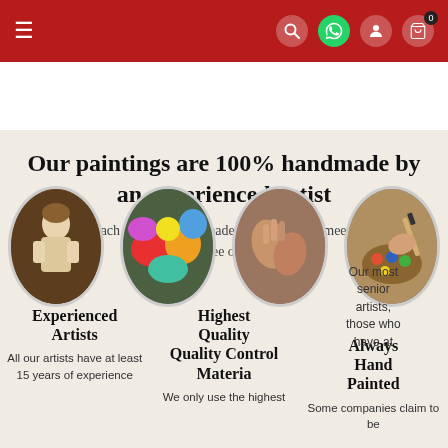Navigation bar with hamburger menu, search, WhatsApp, account, and cart icons
Our paintings are 100% handmade by an experienced artist
Each painting is custom made and won't ship until it meets high standards free of quality control
[Figure (photo): Four oval-shaped photos: 1) classical portrait of a boy in white, 2) colorful abstract painting with bright colors, 3) hands detail from a painting, 4) artist painting with brush and palette]
Experienced Artists
All our artists have at least 15 years of experience
Highest Quality Quality Control Materials
We only use the highest
Always Hand Painted
Some companies claim to be